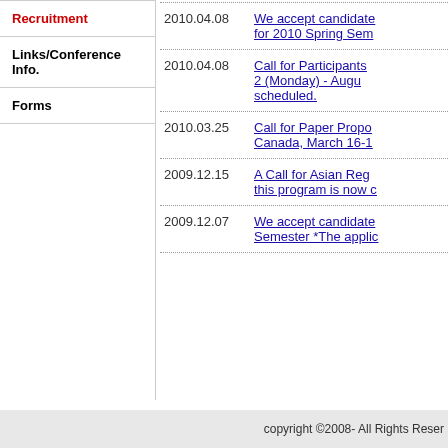Recruitment
Links/Conference Info.
Forms
2010.04.08 — We accept candidates for 2010 Spring Semester
2010.04.08 — Call for Participants 2 (Monday) - August scheduled.
2010.03.25 — Call for Paper Proposals Canada, March 16-1
2009.12.15 — A Call for Asian Reg this program is now c
2009.12.07 — We accept candidates Semester *The applic
copyright ©2008- All Rights Reser